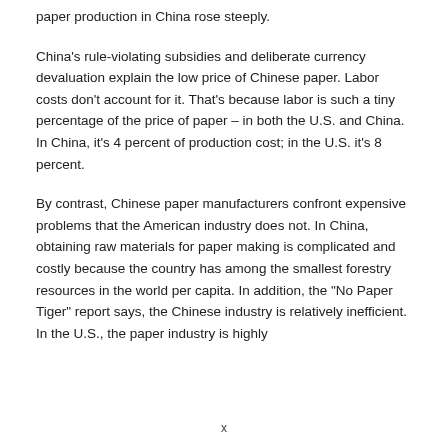paper production in China rose steeply.
China’s rule-violating subsidies and deliberate currency devaluation explain the low price of Chinese paper. Labor costs don’t account for it. That’s because labor is such a tiny percentage of the price of paper – in both the U.S. and China. In China, it’s 4 percent of production cost; in the U.S. it’s 8 percent.
By contrast, Chinese paper manufacturers confront expensive problems that the American industry does not. In China, obtaining raw materials for paper making is complicated and costly because the country has among the smallest forestry resources in the world per capita. In addition, the “No Paper Tiger” report says, the Chinese industry is relatively inefficient. In the U.S., the paper industry is highly
x